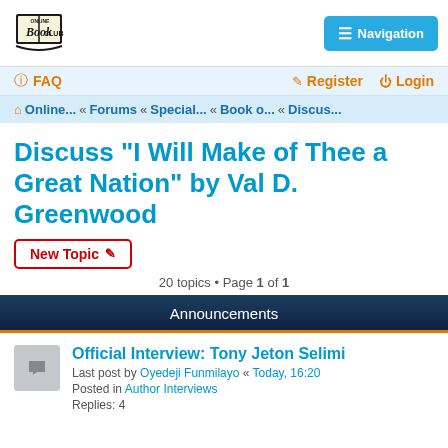[Figure (logo): Online Book Club logo]
Navigation
FAQ   Register   Login
Online... « Forums « Special... « Book o... « Discus...
Discuss "I Will Make of Thee a Great Nation" by Val D. Greenwood
New Topic
20 topics • Page 1 of 1
Announcements
Official Interview: Tony Jeton Selimi
Last post by Oyedeji Funmilayo « Today, 16:20
Posted in Author Interviews
Replies: 4